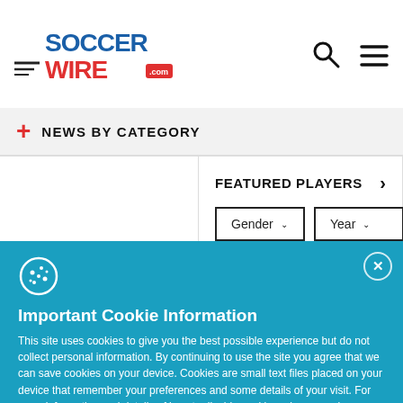SoccerWire logo, search icon, menu icon
NEWS BY CATEGORY
FEATURED PLAYERS
Gender (dropdown) Year (dropdown)
Important Cookie Information
This site uses cookies to give you the best possible experience but do not collect personal information. By continuing to use the site you agree that we can save cookies on your device. Cookies are small text files placed on your device that remember your preferences and some details of your visit. For more information and details of how to disable cookies, please read our privacy policy.
ACCEPT